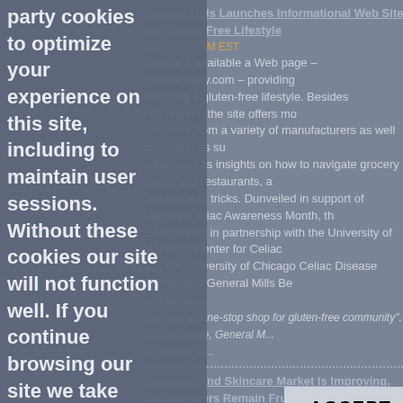party cookies to optimize your experience on this site, including to maintain user sessions. Without these cookies our site will not function well. If you continue browsing our site we take that to mean that you understand and accept how we use the cookies. If you wish to decline our cookies we will redirect you to Google.
General Mills Launches Informational Web Site For Gluten-Free Lifestyle
2011 07:41 AM EST
...made a available a Web page – GlutenFreely.com – providing ... on living a gluten-free lifestyle. Besides information, the site offers mo... products from a variety of manufacturers as well as resources su... ...the site has insights on how to navigate grocery stores and restaurants, a... her tips and tricks. Dunveiled in support of National Celiac Awareness Month, th... ...developed in partnership with the University of Maryland Center for Celiac ...... the University of Chicago Celiac Disease Center, and General Mills Be... ... Nutrition. ...serves as one-stop shop for gluten-free community". Press release, General M... © General M...
Cosmetic And Skincare Market Is Improving, But Shoppers Remain Frugal
2011 03:53 AM EST
...researcher Mintel says the recession had a dampening effect on the cosm... and skincare market, as women backed off "splurge" purchases and spent more t... comparison shopping and looking for sales. The market is improving but the fruga... ...no continues. In 2009, 33 percent of shoppers surveyed said they only made ... planned purchases of color cosmetics and avoided splurging, but that figure d... ...up. Mintel says women spend a lot of time on the Internet resea... ...and continue to purchase most of their cosmetic and skincare ... ...rchandisers and drug stores, because of the wider array of b... ...competitive pricing.
[Figure (screenshot): Cookie consent overlay with ACCEPT and Reject buttons over a news article page. Left side shows cookie policy text in bold white on a semi-transparent dark overlay. Right side shows background article content dimmed.]